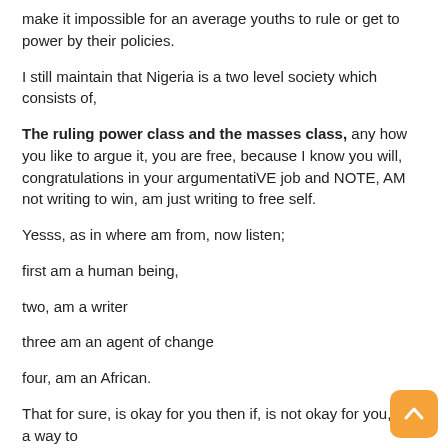make it impossible for an average youths to rule or get to power by their policies.
I still maintain that Nigeria is a two level society which consists of,
The ruling power class and the masses class,  any how you like to argue it,  you are free, because I know you will, congratulations in your argumentatiVE job and  NOTE, AM not writing to win, am just writing to free self.
Yesss, as in where am from, now listen;
first am a human being,
two, am a writer
three am an agent of change
four,  am an African.
That for sure, is okay for you then if, is not okay for you, find a way to